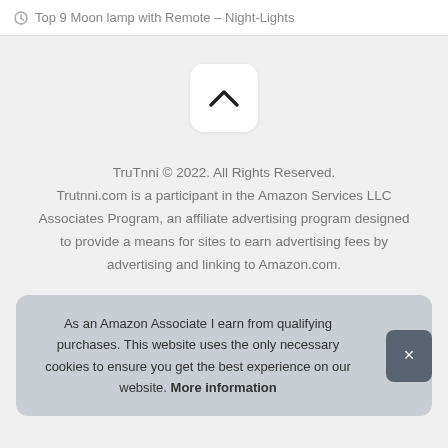Top 9 Moon lamp with Remote – Night-Lights
[Figure (other): Scroll-to-top button with upward chevron arrow on white rounded rectangle]
TruTnni © 2022. All Rights Reserved.
Trutnni.com is a participant in the Amazon Services LLC Associates Program, an affiliate advertising program designed to provide a means for sites to earn advertising fees by advertising and linking to Amazon.com.
As an Amazon Associate I earn from qualifying purchases. This website uses the only necessary cookies to ensure you get the best experience on our website. More information